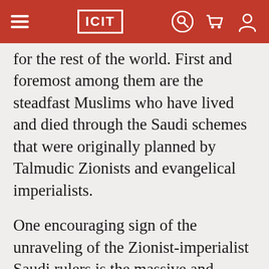ICIT
for the rest of the world. First and foremost among them are the steadfast Muslims who have lived and died through the Saudi schemes that were originally planned by Talmudic Zionists and evangelical imperialists.
One encouraging sign of the unraveling of the Zionist-imperialist Saudi rulers is the massive and unprecedented departure of “foreign” workers from that wicked Kingdom. Foreign workers and employees in Saudi Arabia...